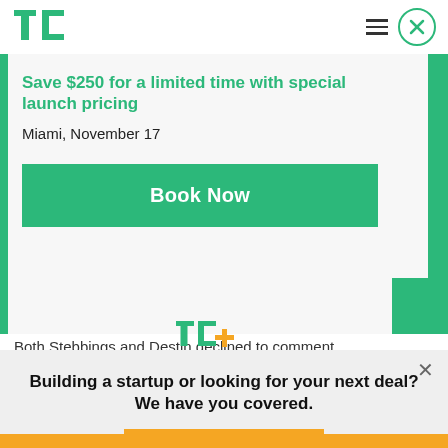[Figure (logo): TechCrunch TC logo in green]
[Figure (other): Hamburger menu icon and circular close button]
Save $250 for a limited time with special launch pricing
Miami, November 17
Book Now
Both Stebbings and Destin declined to comment
[Figure (logo): TC+ logo in green and yellow]
Building a startup or looking for your next deal? We have you covered.
EXPLORE NOW